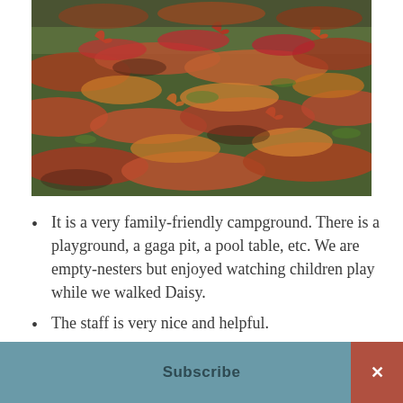[Figure (photo): Autumn fallen leaves covering the ground with green grass patches visible beneath, photographed from above.]
It is a very family-friendly campground. There is a playground, a gaga pit, a pool table, etc. We are empty-nesters but enjoyed watching children play while we walked Daisy.
The staff is very nice and helpful.
The items sold onsite were reasonably priced. We purchased firewood and
Subscribe